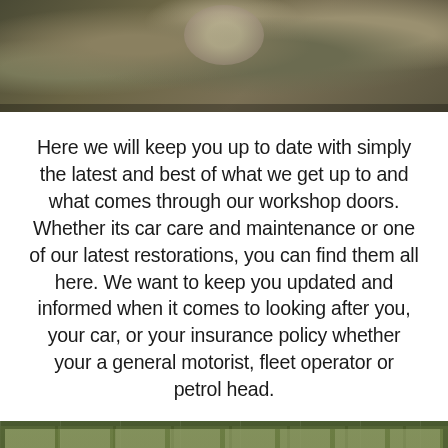[Figure (photo): Top photo showing a cluttered workshop or junkyard scene with machinery, colorful debris and car parts from an aerial/close-up view]
Here we will keep you up to date with simply the latest and best of what we get up to and what comes through our workshop doors. Whether its car care and maintenance or one of our latest restorations, you can find them all here. We want to keep you updated and informed when it comes to looking after you, your car, or your insurance policy whether your a general motorist, fleet operator or petrol head.
[Figure (photo): Bottom photo showing rows of oil/lubricant bottles with yellow and green labels lined up in a workshop or store]